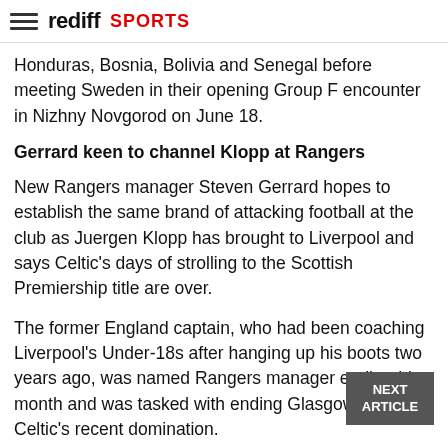rediff SPORTS
Honduras, Bosnia, Bolivia and Senegal before meeting Sweden in their opening Group F encounter in Nizhny Novgorod on June 18.
Gerrard keen to channel Klopp at Rangers
New Rangers manager Steven Gerrard hopes to establish the same brand of attacking football at the club as Juergen Klopp has brought to Liverpool and says Celtic's days of strolling to the Scottish Premiership title are over.
The former England captain, who had been coaching Liverpool's Under-18s after hanging up his boots two years ago, was named Rangers manager earlier this month and was tasked with ending Glasgow rivals Celtic's recent domination.
Rangers have won a record 54 Scottish league titles but are still recovering from the financial problems that saw them reformed in the bottom tier of Scottish football in 2012.
They did it with their Rangers manager for the...